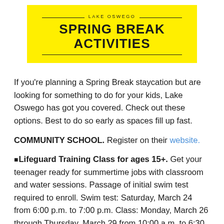[Figure (illustration): Yellow banner with 'LAKE OSWEGO' in small caps above large bold text 'SPRING BREAK ACTIVITIES', with horizontal rules above and below the title]
If you're planning a Spring Break staycation but are looking for something to do for your kids, Lake Oswego has got you covered. Check out these options. Best to do so early as spaces fill up fast.
COMMUNITY SCHOOL. Register on their website.
■Lifeguard Training Class for ages 15+. Get your teenager ready for summertime jobs with classroom and water sessions. Passage of initial swim test required to enroll. Swim test: Saturday, March 24 from 6:00 p.m. to 7:00 p.m. Class: Monday, March 26 through Thursday, March 29 from 10:00 a.m. to 6:30 p.m. Oswego School